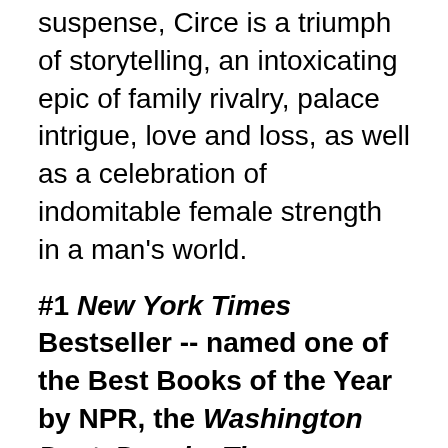suspense, Circe is a triumph of storytelling, an intoxicating epic of family rivalry, palace intrigue, love and loss, as well as a celebration of indomitable female strength in a man's world.
#1 New York Times Bestseller -- named one of the Best Books of the Year by NPR, the Washington Post, People, Time, Amazon, Entertainment Weekly, Bustle, Newsweek, the A.V. Club, Christian Science Monitor, Refinery 29, Buzzfeed, Paste, Audible, Kirkus, Publishers Weekly, Thrillist, NYPL, Self, Real Simple, Goodreads, Boston Globe, Electric Literature, BookPage, the Guardian, Book